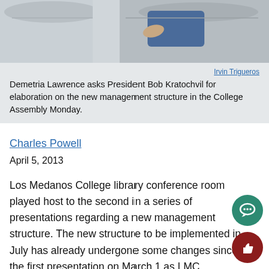[Figure (photo): Photo of a person sitting in lecture hall seats, wearing blue jeans, partially visible. Gray upholstered seat backs visible.]
Irvin Trigueros
Demetria Lawrence asks President Bob Kratochvil for elaboration on the new management structure in the College Assembly Monday.
Charles Powell
April 5, 2013
Los Medanos College library conference room played host to the second in a series of presentations regarding a new management structure. The new structure to be implemented in July has already undergone some changes since the first presentation on March 1 as LMC President Bob Kratochvil and his team incorporated suggestions from attendees who were not completely sold on the first incarnation during the latest presentation held on Monday, April 1